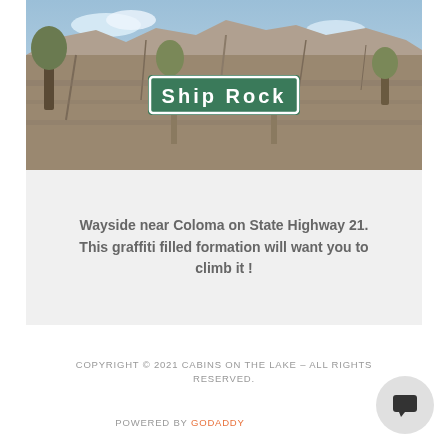[Figure (photo): Photo of Ship Rock formation near Coloma on State Highway 21, showing a green road sign reading 'Ship Rock' in front of a large rocky outcrop with trees, against a partly cloudy sky.]
Wayside near Coloma on State Highway 21. This graffiti filled formation will want you to climb it !
COPYRIGHT © 2021 CABINS ON THE LAKE – ALL RIGHTS RESERVED.
POWERED BY GODADDY